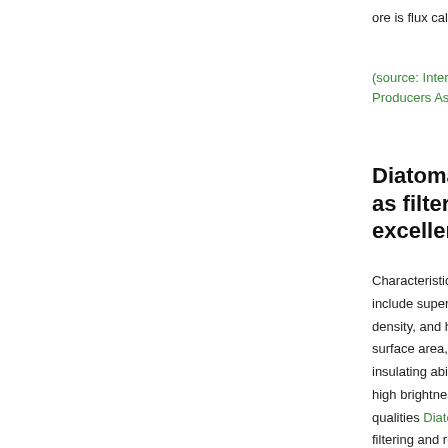ore is flux calcined in a large rotary kiln.
(source: International Diatomite Producers Association)
Diatomaceous Earth as filter aid with excellent qualities.
Characteristics of diatomaceous earth include superior fine structure, low bulk density, and high porosity and big surface area, high absorptive capacity, insulating ability, relative inertness, and high brightness. Because of these qualities Diatomaceous earth (DE) filtering and related equipment are a very good alternative to cartridges because they are able to